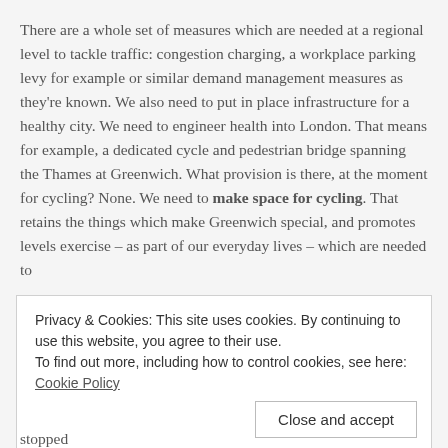There are a whole set of measures which are needed at a regional level to tackle traffic: congestion charging, a workplace parking levy for example or similar demand management measures as they're known. We also need to put in place infrastructure for a healthy city. We need to engineer health into London. That means for example, a dedicated cycle and pedestrian bridge spanning the Thames at Greenwich. What provision is there, at the moment for cycling? None. We need to make space for cycling. That retains the things which make Greenwich special, and promotes levels exercise – as part of our everyday lives – which are needed to
Privacy & Cookies: This site uses cookies. By continuing to use this website, you agree to their use.
To find out more, including how to control cookies, see here: Cookie Policy
stopped